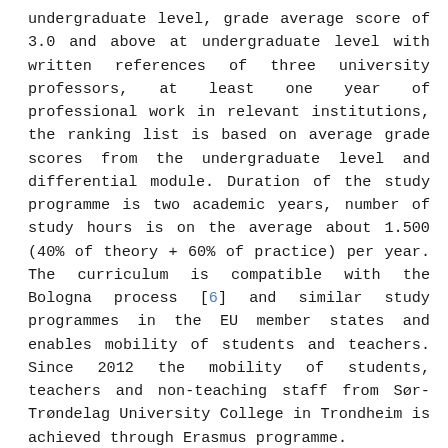undergraduate level, grade average score of 3.0 and above at undergraduate level with written references of three university professors, at least one year of professional work in relevant institutions, the ranking list is based on average grade scores from the undergraduate level and differential module. Duration of the study programme is two academic years, number of study hours is on the average about 1.500 (40% of theory + 60% of practice) per year. The curriculum is compatible with the Bologna process [6] and similar study programmes in the EU member states and enables mobility of students and teachers. Since 2012 the mobility of students, teachers and non-teaching staff from Sør-Trøndelag University College in Trondheim is achieved through Erasmus programme.